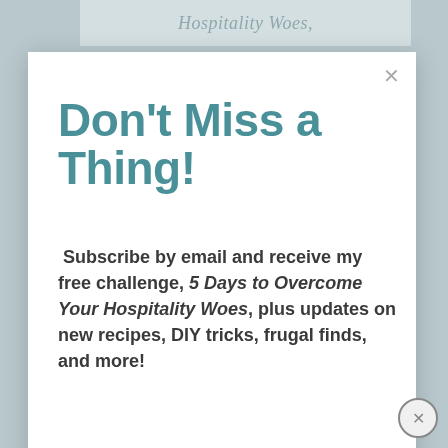Hospitality Woes,
Don't Miss a Thing!
Subscribe by email and receive my free challenge, 5 Days to Overcome Your Hospitality Woes, plus updates on new recipes, DIY tricks, frugal finds, and more!
Email address
SUBSCRIBE